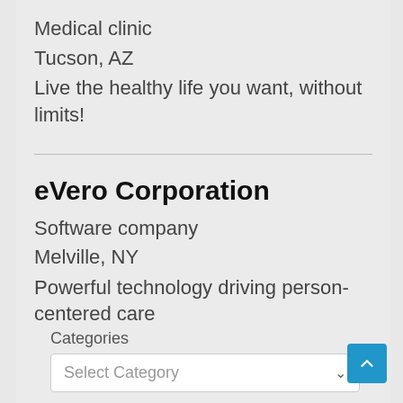Medical clinic
Tucson, AZ
Live the healthy life you want, without limits!
eVero Corporation
Software company
Melville, NY
Powerful technology driving person-centered care
Categories
Select Category